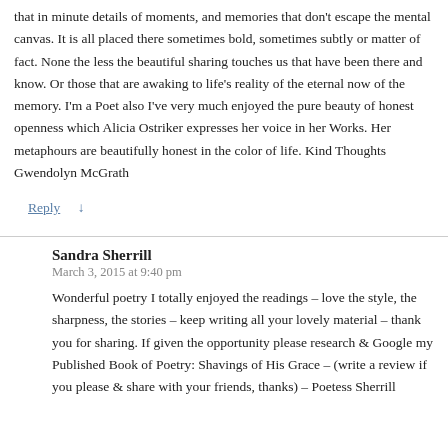that in minute details of moments, and memories that don't escape the mental canvas. It is all placed there sometimes bold, sometimes subtly or matter of fact. None the less the beautiful sharing touches us that have been there and know. Or those that are awaking to life's reality of the eternal now of the memory. I'm a Poet also I've very much enjoyed the pure beauty of honest openness which Alicia Ostriker expresses her voice in her Works. Her metaphours are beautifully honest in the color of life. Kind Thoughts Gwendolyn McGrath
Reply ↓
Sandra Sherrill
March 3, 2015 at 9:40 pm
Wonderful poetry I totally enjoyed the readings – love the style, the sharpness, the stories – keep writing all your lovely material – thank you for sharing. If given the opportunity please research & Google my Published Book of Poetry: Shavings of His Grace – (write a review if you please & share with your friends, thanks) – Poetess Sherrill